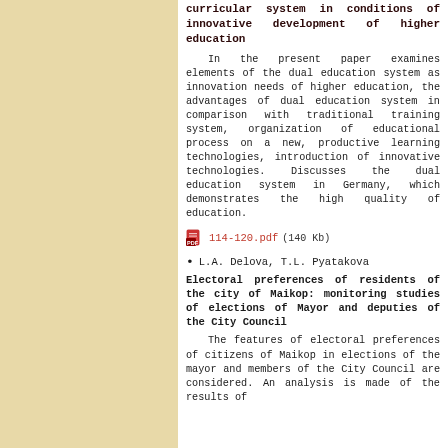curricular system in conditions of innovative development of higher education
In the present paper examines elements of the dual education system as innovation needs of higher education, the advantages of dual education system in comparison with traditional training system, organization of educational process on a new, productive learning technologies, introduction of innovative technologies. Discusses the dual education system in Germany, which demonstrates the high quality of education.
114-120.pdf (140 Kb)
L.A. Delova, T.L. Pyatakova
Electoral preferences of residents of the city of Maikop: monitoring studies of elections of Mayor and deputies of the City Council
The features of electoral preferences of citizens of Maikop in elections of the mayor and members of the City Council are considered. An analysis is made of the results of